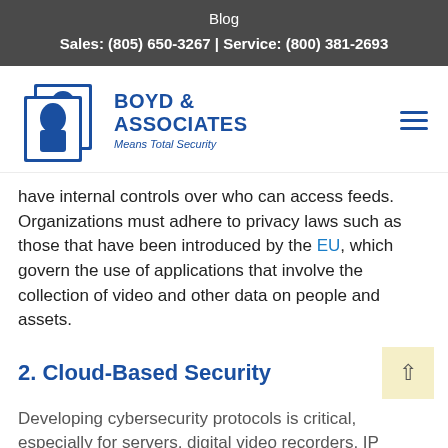Blog
Sales: (805) 650-3267 | Service: (800) 381-2693
[Figure (logo): Boyd & Associates logo with two overlapping profile portrait icons and text 'BOYD & ASSOCIATES Means Total Security']
have internal controls over who can access feeds. Organizations must adhere to privacy laws such as those that have been introduced by the EU, which govern the use of applications that involve the collection of video and other data on people and assets.
2. Cloud-Based Security
Developing cybersecurity protocols is critical, especially for servers, digital video recorders, IP